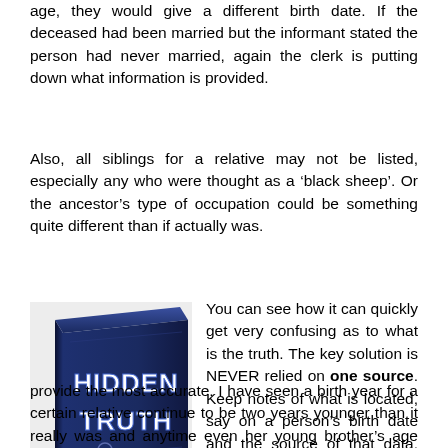age, they would give a different birth date. If the deceased had been married but the informant stated the person had never married, again the clerk is putting down what information is provided.
Also, all siblings for a relative may not be listed, especially any who were thought as a ‘black sheep’. Or the ancestor’s type of occupation could be something quite different than if actually was.
[Figure (photo): A book with a dark blue cover titled 'HIDDEN TRUTH' shown at an angle]
You can see how it can quickly get very confusing as to what is the truth. The key solution is NEVER relied on one source. Keep notes of what is located, say on a person’s birth date and the source of that data. Have at least 3 to 4 different sources from different time periods. Even that can’t provide the most accurate. I have seen a birth year for a certain relative continue to be two years younger than it really was and anytime even her young brother’s age was